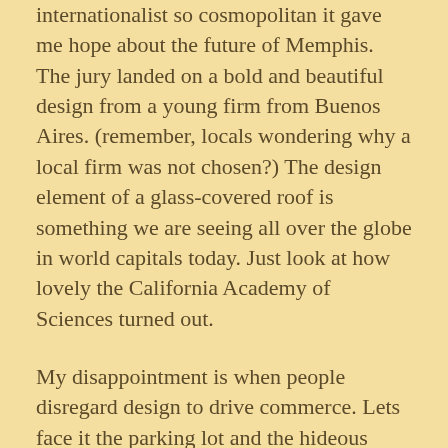internationalist so cosmopolitan it gave me hope about the future of Memphis. The jury landed on a bold and beautiful design from a young firm from Buenos Aires. (remember, locals wondering why a local firm was not chosen?) The design element of a glass-covered roof is something we are seeing all over the globe in world capitals today. Just look at how lovely the California Academy of Sciences turned out.
My disappointment is when people disregard design to drive commerce. Lets face it the parking lot and the hideous elevator shaft was built to drive traffic into the restaurant.
We need a design board/ advocacy group not run by developers but a group that can help educate developers on the fact that wonderful